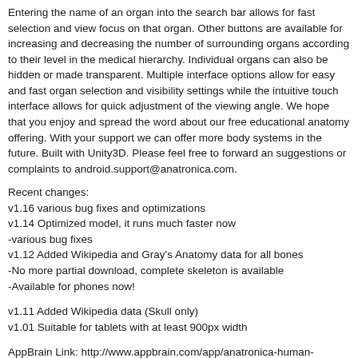Entering the name of an organ into the search bar allows for fast selection and view focus on that organ. Other buttons are available for increasing and decreasing the number of surrounding organs according to their level in the medical hierarchy. Individual organs can also be hidden or made transparent. Multiple interface options allow for easy and fast organ selection and visibility settings while the intuitive touch interface allows for quick adjustment of the viewing angle. We hope that you enjoy and spread the word about our free educational anatomy offering. With your support we can offer more body systems in the future. Built with Unity3D. Please feel free to forward any suggestions or complaints to android.support@anatronica.com.
Recent changes:
v1.16 various bug fixes and optimizations
v1.14 Optimized model, it runs much faster now
-various bug fixes
v1.12 Added Wikipedia and Gray's Anatomy data for all bones
-No more partial download, complete skeleton is available
-Available for phones now!
v1.11 Added Wikipedia data (Skull only)
v1.01 Suitable for tablets with at least 900px width
AppBrain Link: http://www.appbrain.com/app/anatronica-human-anatomy-3d/com.GoodwillEnterpriseDevelopment.Anatronica
Latest Android App: City Fireworks FREE
Fireworks over the skyline of New York, London or Stockholm, the capital of Swed altitudes, colors and light changes dynamically and seamless during the day, and